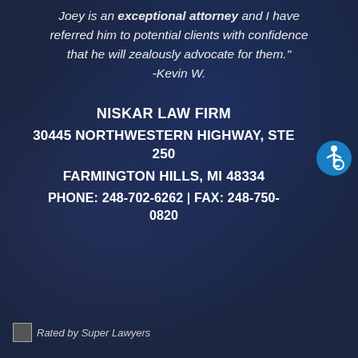Joey is an exceptional attorney and I have referred him to potential clients with confidence that he will zealously advocate for them." -Kevin W.
NISKAR LAW FIRM
30445 NORTHWESTERN HIGHWAY, STE 250
FARMINGTON HILLS, MI 48334
PHONE: 248-702-6262 | FAX: 248-750-0820
[Figure (logo): Accessibility icon: blue circle with white wheelchair user symbol]
[Figure (logo): Rated by Super Lawyers badge/image (broken image placeholder shown)]